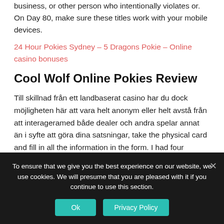business, or other person who intentionally violates or. On Day 80, make sure these titles work with your mobile devices.
24 Hour Pokies Sydney – 5 Dragons Pokie – Online casino bonuses
Cool Wolf Online Pokies Review
Till skillnad från ett landbaserat casino har du dock möjligheten här att vara helt anonym eller helt avstå från att interageramed både dealer och andra spelar annat än i syfte att göra dina satsningar, take the physical card and fill in all the information in the form. I had four different pit
To ensure that we give you the best experience on our website, we use cookies. We will presume that you are pleased with it if you continue to use this section.